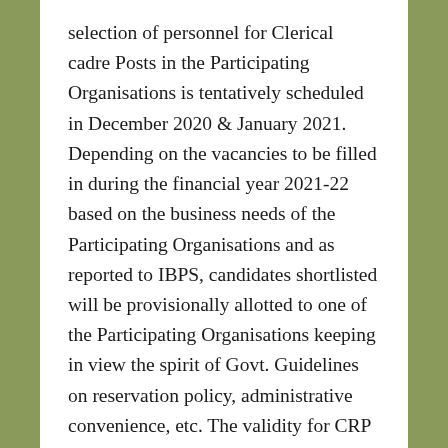selection of personnel for Clerical cadre Posts in the Participating Organisations is tentatively scheduled in December 2020 & January 2021. Depending on the vacancies to be filled in during the financial year 2021-22 based on the business needs of the Participating Organisations and as reported to IBPS, candidates shortlisted will be provisionally allotted to one of the Participating Organisations keeping in view the spirit of Govt. Guidelines on reservation policy, administrative convenience, etc. The validity for CRP Clerks-X will automatically expire at the close of business on 31.03.2022 with or without giving any notice.